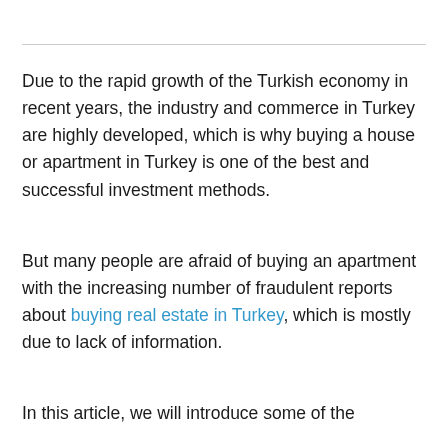Due to the rapid growth of the Turkish economy in recent years, the industry and commerce in Turkey are highly developed, which is why buying a house or apartment in Turkey is one of the best and successful investment methods.
But many people are afraid of buying an apartment with the increasing number of fraudulent reports about buying real estate in Turkey, which is mostly due to lack of information.
In this article, we will introduce some of the advantages of...